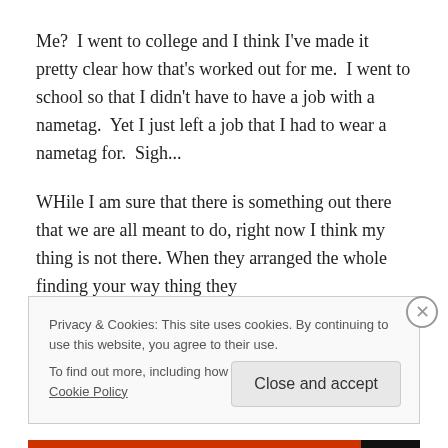Me?  I went to college and I think I've made it pretty clear how that's worked out for me.  I went to school so that I didn't have to have a job with a nametag.  Yet I just left a job that I had to wear a nametag for.  Sigh...
WHile I am sure that there is something out there that we are all meant to do, right now I think my thing is not there. When they arranged the whole finding your way thing they
Privacy & Cookies: This site uses cookies. By continuing to use this website, you agree to their use.
To find out more, including how to control cookies, see here: Cookie Policy
Close and accept